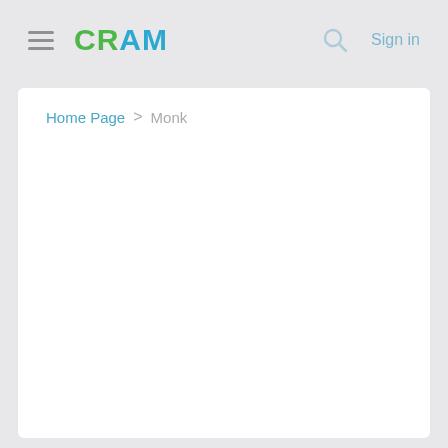CRAM  Sign in
Home Page > Monk